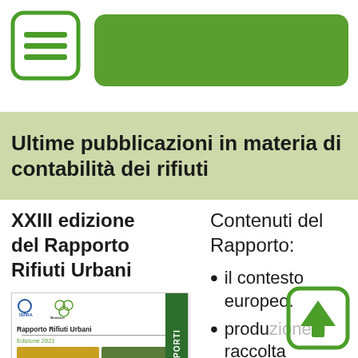[Figure (illustration): Green hamburger menu icon (rounded square outline with three horizontal lines) on white background, next to a solid green rounded rectangle header bar]
Ultime pubblicazioni in materia di contabilità dei rifiuti
XXIII edizione del Rapporto Rifiuti Urbani
[Figure (photo): Book cover of 'Rapporto Rifiuti Urbani Edizione 2021' published by ISPRA, showing logos at top, title text, a divider line, and two photos at the bottom (yellow vending machines and green foliage). Green spine on the right side with text 'RAPPORTI'.]
Contenuti del Rapporto:
il contesto europeo.
produ... e raccolta
[Figure (illustration): Back-to-top button icon: green rounded square outline with upward arrow]